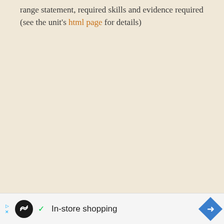range statement, required skills and evidence required (see the unit's html page for details)
[Figure (other): Advertisement banner at the bottom of the page showing 'In-store shopping' with a circular logo, checkmark, and blue diamond arrow icon]